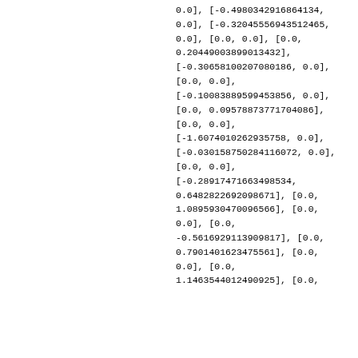0.0], [-0.4980342916864134, 0.0], [-0.32045556943512465, 0.0], [0.0, 0.0], [0.0, 0.20449003899013432], [-0.30658100207080186, 0.0], [0.0, 0.0], [-0.10083889599453856, 0.0], [0.0, 0.09578873771704086], [0.0, 0.0], [-1.6074010262935758, 0.0], [-0.030158750284116072, 0.0], [0.0, 0.0], [-0.28917471663498534, 0.6482822692098671], [0.0, 1.0895930470096566], [0.0, 0.0], [0.0, -0.5616929113909817], [0.0, 0.7901401623475561], [0.0, 0.0], [0.0, 1.1463544012490925], [0.0,